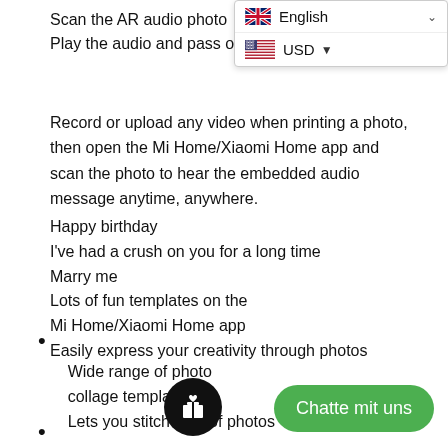Scan the AR audio photo
Play the audio and pass on the feeling
[Figure (screenshot): Language selector dropdown showing English with UK flag and USD currency selector with US flag]
Record or upload any video when printing a photo, then open the Mi Home/Xiaomi Home app and scan the photo to hear the embedded audio message anytime, anywhere.
Happy birthday
I've had a crush on you for a long time
Marry me
Lots of fun templates on the
Mi Home/Xiaomi Home app
Easily express your creativity through photos
Wide range of photo collage templates
Lets you stitch tons of photos
[Figure (screenshot): Black circular gift/present icon button]
Chatte mit uns